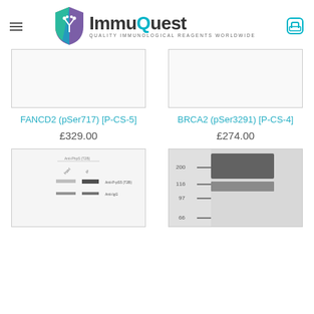ImmuQuest — Quality Immunological Reagents Worldwide
FANCD2 (pSer717) [P-CS-5]
£329.00
BRCA2 (pSer3291) [P-CS-4]
£274.00
[Figure (photo): Western blot image showing anti-phospho bands with labeled lanes]
[Figure (photo): Western blot protein gel image with molecular weight markers at 200, 116, 97, 66 kDa showing a strong band above 116 kDa]